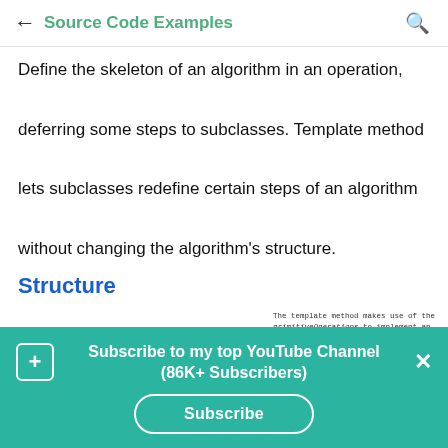← Source Code Examples 🔍
Define the skeleton of an algorithm in an operation, deferring some steps to subclasses. Template method lets subclasses redefine certain steps of an algorithm without changing the algorithm's structure.
Structure
[Figure (illustration): Partial UML diagram with a note: 'The template method makes use of the primitiveOperations to implement an algorithm. It is decoupled from the actual implementation of these operations.' A circle/class box and curved line are partially visible at the bottom.]
Subscribe to my top YouTube Channel (86K+ Subscribers)
Subscribe